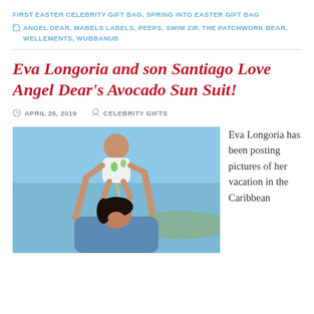FIRST EASTER CELEBRITY GIFT BAG, SPRING INTO EASTER GIFT BAG
ANGEL DEAR, MABELS LABELS, PEEPS, SWIM ZIP, THE PATCHWORK BEAR, WELLEMENTS, WUBBANUB
Eva Longoria and son Santiago Love Angel Dear's Avocado Sun Suit!
APRIL 26, 2019   CELEBRITY GIFTS
[Figure (photo): Eva Longoria holding baby Santiago up in the air against a blue sky Caribbean background]
Eva Longoria has been posting pictures of her vacation in the Caribbean